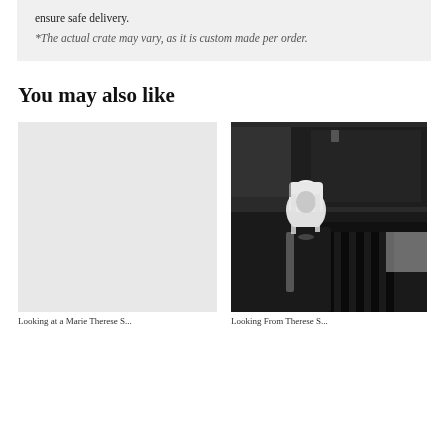ensure safe delivery.
*The actual crate may vary, as it is custom made per order.
You may also like
[Figure (photo): Left card: light gray placeholder image for a product]
[Figure (photo): Black and white photograph of a person wearing a hooded garment sitting in a bedroom with a tapestry on the wall]
Looking at a Marie Therese S...
Looking From Therese S...